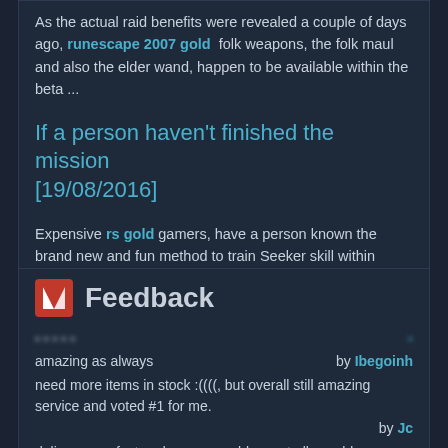As the actual raid benefits were revealed a couple of days ago, runescape 2007 gold folk weapons, the folk maul and also the elder wand, happen to be available within the beta ...
If a person haven't finished the mission [19/08/2016]
Expensive rs gold gamers, have a person known the brand new and fun method to train Seeker skill within OSRS? Indeed, it is actually Maniacal Goof Hunting that releases upon May twenty six. Usin...
Feedback
amazing as always by Ibegoinh
need more items in stock :((((, but overall still amazing service and voted #1 for me. by Jc
delivery was fast and was no problems at all. would